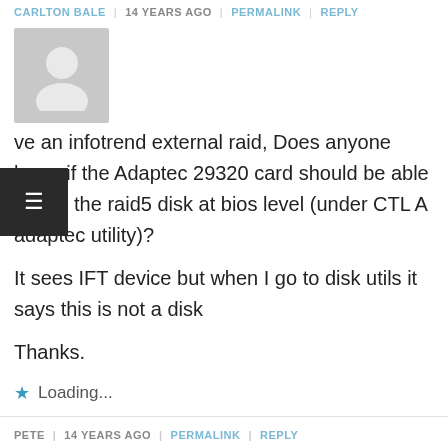CARLTON BALE | 14 YEARS AGO | PERMALINK | REPLY
[Figure (illustration): User avatar placeholder image, grey silhouette on grey background]
ve an infotrend external raid, Does anyone know if the Adaptec 29320 card should be able to see the raid5 disk at bios level (under CTL A adaptec utility)?
It sees IFT device but when I go to disk utils it says this is not a disk
Thanks.
★ Loading...
PETE | 14 YEARS AGO | PERMALINK | REPLY
[Figure (illustration): User avatar placeholder image, grey silhouette on grey background]
Well, I have read all of the threads and it looks as though I am the only person using a RAID 6.... We just upgrade our NAS boxes 6 x 1Tb drives and I wanted the RAID 6 since our data is too valuable to